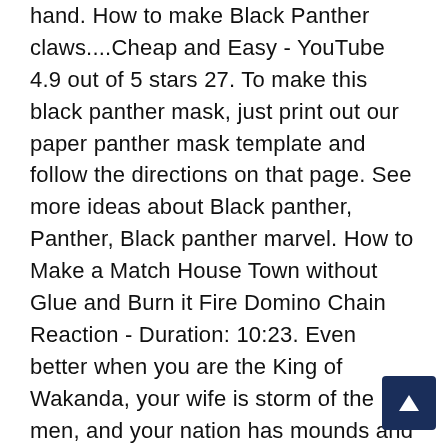hand. How to make Black Panther claws....Cheap and Easy - YouTube 4.9 out of 5 stars 27. To make this black panther mask, just print out our paper panther mask template and follow the directions on that page. See more ideas about Black panther, Panther, Black panther marvel. How to Make a Match House Town without Glue and Burn it Fire Domino Chain Reaction - Duration: 10:23. Even better when you are the King of Wakanda, your wife is storm of the men, and your nation has mounds and mounds of Vibranium!! Don't forget to play safe, these claws are sharp. $15.99 $ 15. Fold the ends of the paper into an X. Jul 18, 2018 - Explore Faith Weaver's board "Black panther" on Pinterest. Slide 3 claws onto the three toothpicks. Step 9 Unfold the claw tip Grab the claw tip and fold it down vertically Make sure this fold is halfway down the area of the claw you pinched